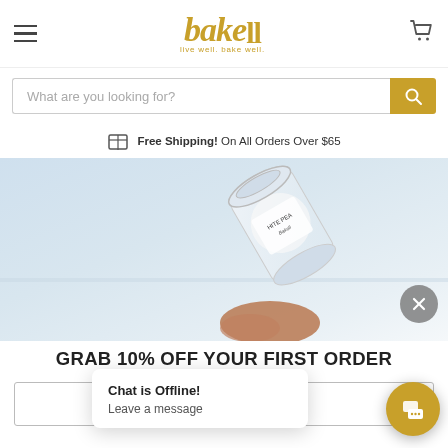bakell — live well. bake well.
What are you looking for?
Free Shipping! On All Orders Over $65
[Figure (photo): A jar of white pearl edible glitter (labeled 'WHITE PEA...') held at an angle against a soft white/light blue background.]
GRAB 10% OFF YOUR FIRST ORDER
Chat is Offline! Leave a message